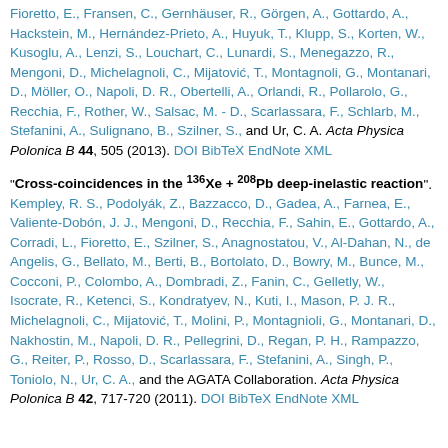Fioretto, E., Fransen, C., Gernhäuser, R., Görgen, A., Gottardo, A., Hackstein, M., Hernández-Prieto, A., Huyuk, T., Klupp, S., Korten, W., Kusoglu, A., Lenzi, S., Louchart, C., Lunardi, S., Menegazzo, R., Mengoni, D., Michelagnoli, C., Mijatović, T., Montagnoli, G., Montanari, D., Möller, O., Napoli, D. R., Obertelli, A., Orlandi, R., Pollarolo, G., Recchia, F., Rother, W., Salsac, M. - D., Scarlassara, F., Schlarb, M., Stefanini, A., Sulignano, B., Szilner, S., and Ur, C. A. Acta Physica Polonica B 44, 505 (2013). DOI BibTeX EndNote XML
"Cross-coincidences in the 136Xe + 208Pb deep-inelastic reaction". Kempley, R. S., Podolyák, Z., Bazzacco, D., Gadea, A., Farnea, E., Valiente-Dobón, J. J., Mengoni, D., Recchia, F., Sahin, E., Gottardo, A., Corradi, L., Fioretto, E., Szilner, S., Anagnostatou, V., Al-Dahan, N., de Angelis, G., Bellato, M., Berti, B., Bortolato, D., Bowry, M., Bunce, M., Cocconi, P., Colombo, A., Dombradi, Z., Fanin, C., Gelletly, W., Isocrate, R., Ketenci, S., Kondratyev, N., Kuti, I., Mason, P. J. R., Michelagnoli, C., Mijatović, T., Molini, P., Montagnioli, G., Montanari, D., Nakhostin, M., Napoli, D. R., Pellegrini, D., Regan, P. H., Rampazzo, G., Reiter, P., Rosso, D., Scarlassara, F., Stefanini, A., Singh, P., Toniolo, N., Ur, C. A., and the AGATA Collaboration. Acta Physica Polonica B 42, 717-720 (2011). DOI BibTeX EndNote XML